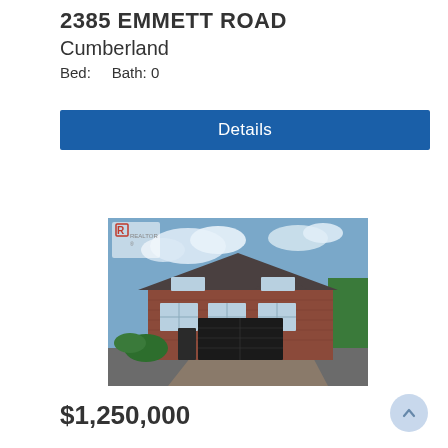2385 EMMETT ROAD
Cumberland
Bed:    Bath: 0
Details
[Figure (photo): Exterior photo of a two-storey brick house with dark garage door, landscaping, and blue sky. REALTOR logo watermark in top-left corner.]
$1,250,000